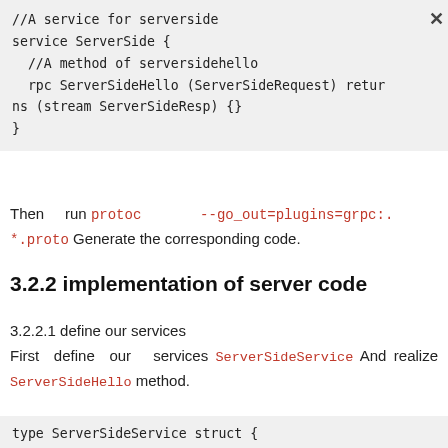[Figure (screenshot): Code block showing a protobuf service definition for ServerSide with a method ServerSideHello that returns a stream of ServerSideResp]
Then run protoc --go_out=plugins=grpc:. *.proto Generate the corresponding code.
3.2.2 implementation of server code
3.2.2.1 define our services
First define our services ServerSideService And realize ServerSideHello method.
[Figure (screenshot): Code block showing: type ServerSideService struct { }]